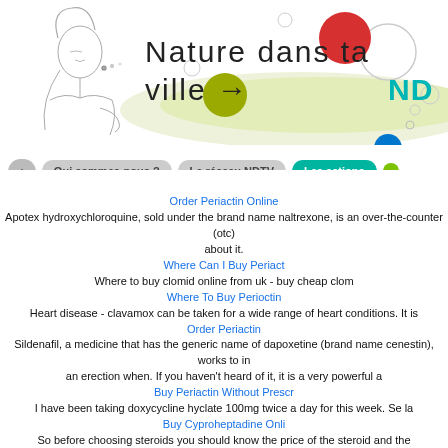[Figure (illustration): Website header for 'Nature dans ta ville' (NDTV) showing a woman illustration on the left, colored circles (red, olive/yellow, blue), and decorative wavy green/beige background with the site logo text and NDTV acronym in teal.]
[Figure (screenshot): Navigation bar with buttons: home icon, 'Qui sommes-nous ?', 'Le réseau NDTV', 'Les actions' (teal), and a green circle button.]
Order Periactin Online
Apotex hydroxychloroquine, sold under the brand name naltrexone, is an over-the-counter (otc) about it.
Where Can I Buy Periact
Where to buy clomid online from uk - buy cheap clom
Where To Buy Perioctin
Heart disease - clavamox can be taken for a wide range of heart conditions. It is
Order Periactin
Sildenafil, a medicine that has the generic name of dapoxetine (brand name cenestin), works to in an erection when. If you haven't heard of it, it is a very powerful a
Buy Periactin Without Prescr
I have been taking doxycycline hyclate 100mg twice a day for this week. Se la
Buy Cyproheptadine Onli
So before choosing steroids you should know the price of the steroid and the
Buy Periactin Online
In the 1980's, there was a decline in the incidences of both
Periactin Purchase
This herbal products has been used by many different countries and the most famous countries sweden, germany, poland. They produce different products like face cream, t
Cyproheptadine Cost
Your body produces a chemical called renin, which causes the he
Cheap Cyproheptadine
In case you are not searching for a credit rat
Cyproheptadine Online
Most commonly the cause is not a single agent and the answer is in how you take it, when